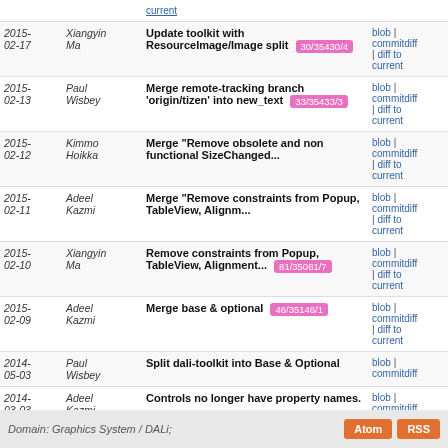| Date | Author | Message | Links |
| --- | --- | --- | --- |
| 2015-02-17 | Xiangyin Ma | Update toolkit with ResourceImage/Image split 30/35430/4 | blob | commitdiff | diff to current |
| 2015-02-13 | Paul Wisbey | Merge remote-tracking branch 'origin/tizen' into new_text 33/35433/3 | blob | commitdiff | diff to current |
| 2015-02-12 | Kimmo Hoikka | Merge "Remove obsolete and non functional SizeChanged..." | blob | commitdiff | diff to current |
| 2015-02-11 | Adeel Kazmi | Merge "Remove constraints from Popup, TableView, Alignm..." | blob | commitdiff | diff to current |
| 2015-02-10 | Xiangyin Ma | Remove constraints from Popup, TableView, Alignment... 81/35081/7 | blob | commitdiff | diff to current |
| 2015-02-09 | Adeel Kazmi | Merge base & optional 46/35146/1 | blob | commitdiff | diff to current |
| 2014-05-03 | Paul Wisbey | Split dali-toolkit into Base & Optional | blob | commitdiff |
| 2014-03-03 | Adeel Kazmi | Controls no longer have property names. | blob | commitdiff | diff to current |
| 2014-03-03 | Paul Wisbey | [SRUK] Initial copy from Tizen 2.2 version | blob | commitdiff | diff to current |
Domain: Graphics System / DALi;